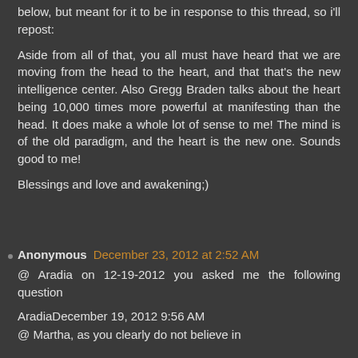below, but meant for it to be in response to this thread, so i'll repost:
Aside from all of that, you all must have heard that we are moving from the head to the heart, and that that's the new intelligence center. Also Gregg Braden talks about the heart being 10,000 times more powerful at manifesting than the head. It does make a whole lot of sense to me! The mind is of the old paradigm, and the heart is the new one. Sounds good to me!
Blessings and love and awakening;)
Anonymous December 23, 2012 at 2:52 AM
@ Aradia on 12-19-2012 you asked me the following question
AradiaDecember 19, 2012 9:56 AM
@ Martha, as you clearly do not believe in